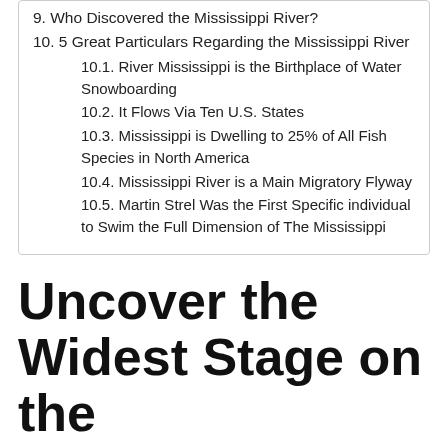9. Who Discovered the Mississippi River?
10. 5 Great Particulars Regarding the Mississippi River
10.1. River Mississippi is the Birthplace of Water Snowboarding
10.2. It Flows Via Ten U.S. States
10.3. Mississippi is Dwelling to 25% of All Fish Species in North America
10.4. Mississippi River is a Main Migratory Flyway
10.5. Martin Strel Was the First Specific individual to Swim the Full Dimension of The Mississippi
Uncover the Widest Stage on the